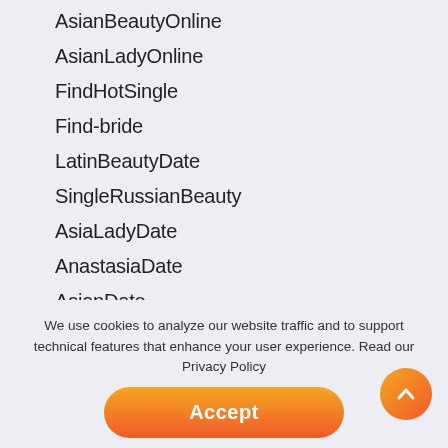AsianBeautyOnline
AsianLadyOnline
FindHotSingle
Find-bride
LatinBeautyDate
SingleRussianBeauty
AsiaLadyDate
AnastasiaDate
AsianDate
AmoLatina
DateNiceSlav
CharmCupid
FindAsianBeauty
We use cookies to analyze our website traffic and to support technical features that enhance your user experience. Read our Privacy Policy
Accept